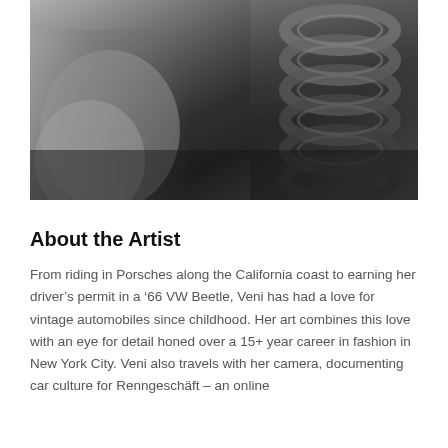[Figure (photo): Black and white close-up photograph of vintage automobile mechanical details, showing coil springs or exhaust components in high contrast monochrome]
About the Artist
From riding in Porsches along the California coast to earning her driver’s permit in a ’66 VW Beetle, Veni has had a love for vintage automobiles since childhood. Her art combines this love with an eye for detail honed over a 15+ year career in fashion in New York City. Veni also travels with her camera, documenting car culture for Renngeschäft – an online